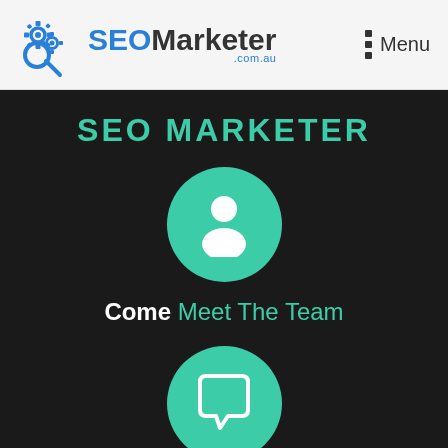SEOMarketer .com.au — Menu
SEO MARKETER
[Figure (illustration): Teal circle with white person/user silhouette icon]
Come Meet The Team
[Figure (illustration): Teal circle with white speech bubble / chat icon]